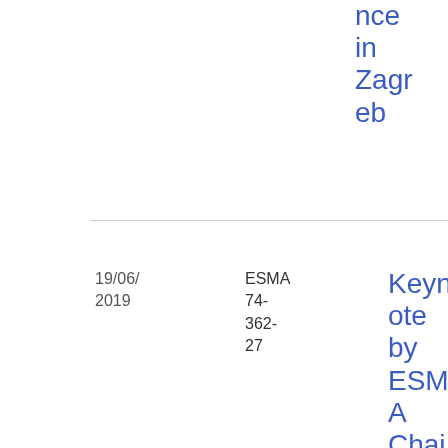nce in Zagreb
| Date | Reference | Title | Topic | Type | Download |
| --- | --- | --- | --- | --- | --- |
| 19/06/2019 | ESMA 74-362-27 | Keynote by ESMA Chair at Eurofiling – European Central Bank conference | European Single Electronic Format | Speech | PDF 25 0.93 KB |